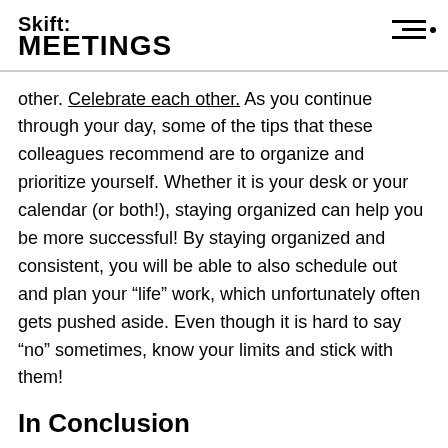Skift MEETINGS
other. Celebrate each other. As you continue through your day, some of the tips that these colleagues recommend are to organize and prioritize yourself. Whether it is your desk or your calendar (or both!), staying organized can help you be more successful! By staying organized and consistent, you will be able to also schedule out and plan your “life” work, which unfortunately often gets pushed aside. Even though it is hard to say “no” sometimes, know your limits and stick with them!
In Conclusion